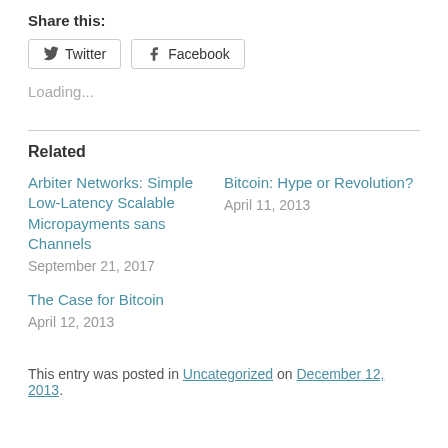Share this:
Twitter  Facebook
Loading...
Related
Arbiter Networks: Simple Low-Latency Scalable Micropayments sans Channels
September 21, 2017
Bitcoin: Hype or Revolution?
April 11, 2013
The Case for Bitcoin
April 12, 2013
This entry was posted in Uncategorized on December 12, 2013.